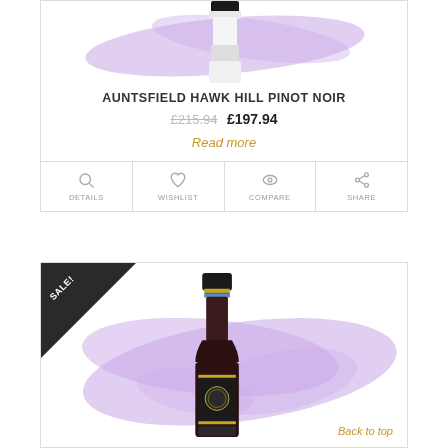[Figure (photo): Wine bottle (Auntsfield Hawk Hill Pinot Noir) partially visible at top with purple brushstroke splash background]
AUNTSFIELD HAWK HILL PINOT NOIR
£215.94 £197.94
Read more
DETAILS  WISHLIST  COMPARE  SHARE
[Figure (photo): Wine bottle with dark label and gold accent bands, with purple brushstroke splash background, SALE! badge in top-left corner]
Back to top